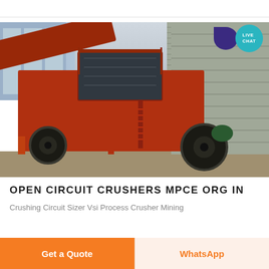[Figure (photo): Photo of a large orange/rust-colored open circuit crusher machine with conveyor belts, screening unit, large black rubber wheels, and ladder, positioned in front of a stone wall and metal building. A 'LIVE CHAT' badge is overlaid in the top-right corner.]
OPEN CIRCUIT CRUSHERS MPCE ORG IN
Crushing Circuit Sizer Vsi Process Crusher Mining
Get a Quote
WhatsApp